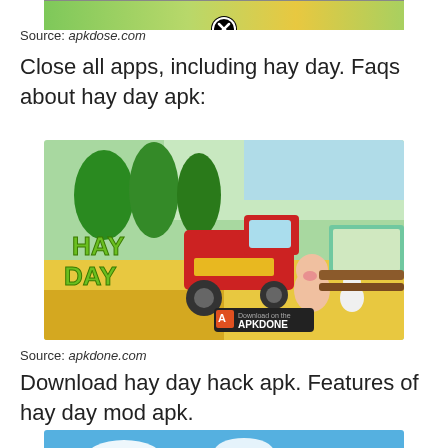[Figure (screenshot): Top portion of a Hay Day app screenshot with a close/X button overlay at the bottom center]
Source: apkdose.com
Close all apps, including hay day. Faqs about hay day apk:
[Figure (screenshot): Hay Day game promotional screenshot showing a red tractor, pig, chicken, and HAY DAY logo with APKDONE download badge]
Source: apkdone.com
Download hay day hack apk. Features of hay day mod apk.
[Figure (screenshot): Bottom Hay Day screenshot showing a farmer character, farm scenery, HAY DAY logo, and a close/X button overlay]